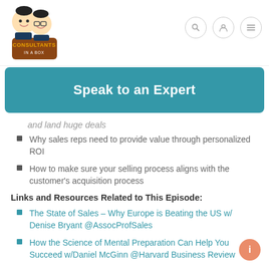Consultants In A Box — navigation header with logo and icons
Speak to an Expert
and land huge deals
Why sales reps need to provide value through personalized ROI
How to make sure your selling process aligns with the customer's acquisition process
Links and Resources Related to This Episode:
The State of Sales – Why Europe is Beating the US w/ Denise Bryant @AssocProfSales
How the Science of Mental Preparation Can Help You Succeed w/Daniel McGinn @Harvard Business Review